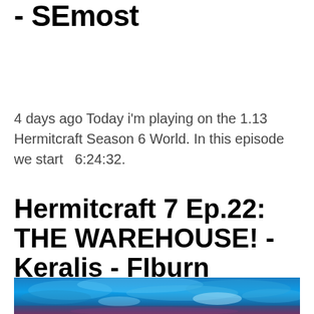22 - THE NEXT CHAPTER - SEmost
4 days ago Today i'm playing on the 1.13 Hermitcraft Season 6 World. In this episode we start  6:24:32.
Hermitcraft 7 Ep.22: THE WAREHOUSE! - Keralis - FIburn
[Figure (photo): A dramatic blue sky with clouds, sunset or stormy sky with vivid blue and purple tones]